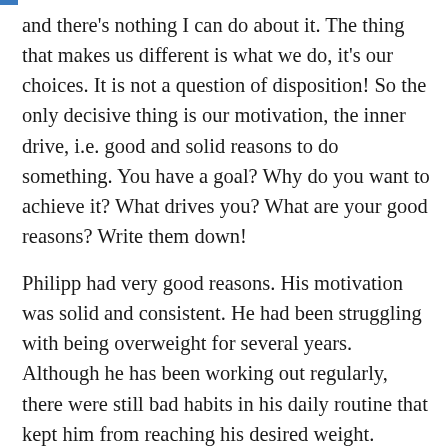and there's nothing I can do about it. The thing that makes us different is what we do, it's our choices. It is not a question of disposition! So the only decisive thing is our motivation, the inner drive, i.e. good and solid reasons to do something. You have a goal? Why do you want to achieve it? What drives you? What are your good reasons? Write them down!
Philipp had very good reasons. His motivation was solid and consistent. He had been struggling with being overweight for several years. Although he has been working out regularly, there were still bad habits in his daily routine that kept him from reaching his desired weight. Philipp also wanted